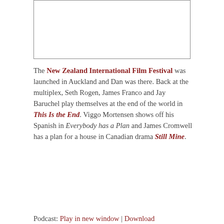[Figure (other): Empty bordered image placeholder box]
The New Zealand International Film Festival was launched in Auckland and Dan was there. Back at the multiplex, Seth Rogen, James Franco and Jay Baruchel play themselves at the end of the world in This Is the End. Viggo Mortensen shows off his Spanish in Everybody has a Plan and James Cromwell has a plan for a house in Canadian drama Still Mine.
Podcast: Play in new window | Download